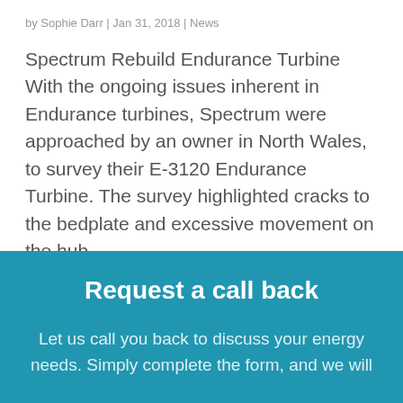by Sophie Darr | Jan 31, 2018 | News
Spectrum Rebuild Endurance Turbine With the ongoing issues inherent in Endurance turbines, Spectrum were approached by an owner in North Wales, to survey their E-3120 Endurance Turbine. The survey highlighted cracks to the bedplate and excessive movement on the hub...
Request a call back
Let us call you back to discuss your energy needs. Simply complete the form, and we will